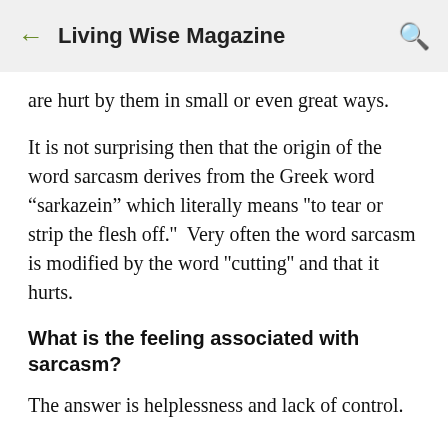Living Wise Magazine
are hurt by them in small or even great ways.
It is not surprising then that the origin of the word sarcasm derives from the Greek word “sarkazein” which literally means ''to tear or strip the flesh off.''  Very often the word sarcasm is modified by the word ''cutting'' and that it hurts.
What is the feeling associated with sarcasm?
The answer is helplessness and lack of control.